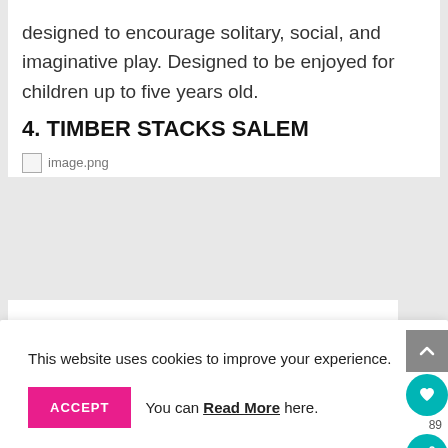designed to encourage solitary, social, and imaginative play. Designed to be enjoyed for children up to five years old.
4. TIMBER STACKS SALEM
[Figure (photo): Broken/missing image placeholder labeled image.png]
This website uses cookies to improve your experience.
ACCEPT  You can Read More here.
As a bonus, the Salem ($27,535) is environmentally friendly. It is built with black locust, a sustainable wood that resists decay and has the highest possible fungi and termite resistance rating. This playset can be bought through local reps that will have it